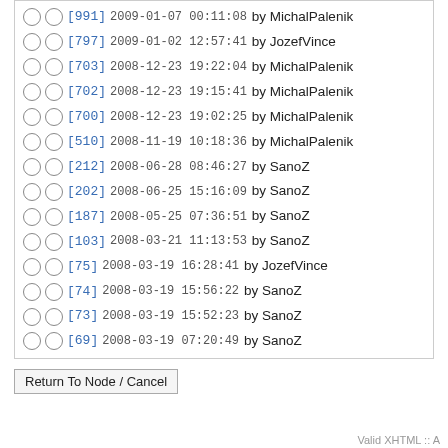[991] 2009-01-07 00:11:08 by MichalPalenik
[797] 2009-01-02 12:57:41 by JozefVince
[703] 2008-12-23 19:22:04 by MichalPalenik
[702] 2008-12-23 19:15:41 by MichalPalenik
[700] 2008-12-23 19:02:25 by MichalPalenik
[510] 2008-11-19 10:18:36 by MichalPalenik
[212] 2008-06-28 08:46:27 by SanoZ
[202] 2008-06-25 15:16:09 by SanoZ
[187] 2008-05-25 07:36:51 by SanoZ
[103] 2008-03-21 11:13:53 by SanoZ
[75] 2008-03-19 16:28:41 by JozefVince
[74] 2008-03-19 15:56:22 by SanoZ
[73] 2008-03-19 15:52:23 by SanoZ
[69] 2008-03-19 07:20:49 by SanoZ
Return To Node / Cancel
Valid XHTML :: A